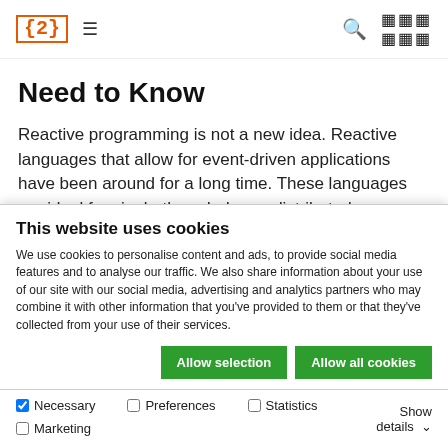{2} ≡  🔍 ⋮⋮⋮
Need to Know
Reactive programming is not a new idea. Reactive languages that allow for event-driven applications have been around for a long time. These languages are ideal for single-threaded, non-distributed applications. Distributed systems, however, are more
This website uses cookies
We use cookies to personalise content and ads, to provide social media features and to analyse our traffic. We also share information about your use of our site with our social media, advertising and analytics partners who may combine it with other information that you've provided to them or that they've collected from your use of their services.
Allow selection | Allow all cookies
✓ Necessary  □ Preferences  □ Statistics  □ Marketing  Show details ∨